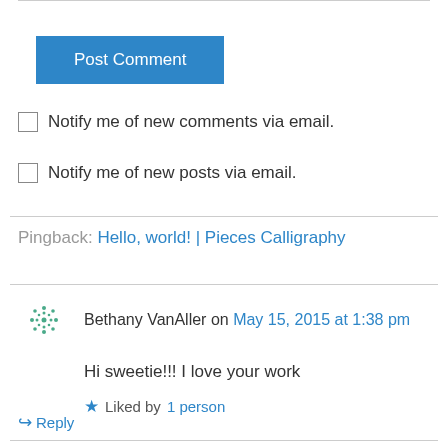Post Comment
Notify me of new comments via email.
Notify me of new posts via email.
Pingback: Hello, world! | Pieces Calligraphy
Bethany VanAller on May 15, 2015 at 1:38 pm
Hi sweetie!!! I love your work
Liked by 1 person
Reply